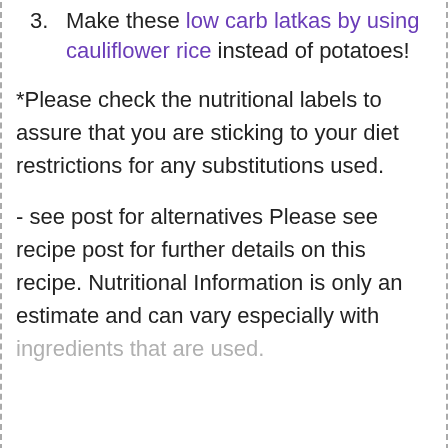3. Make these low carb latkas by using cauliflower rice instead of potatoes!
*Please check the nutritional labels to assure that you are sticking to your diet restrictions for any substitutions used.
- see post for alternatives Please see recipe post for further details on this recipe. Nutritional Information is only an estimate and can vary especially with ingredients that are used.